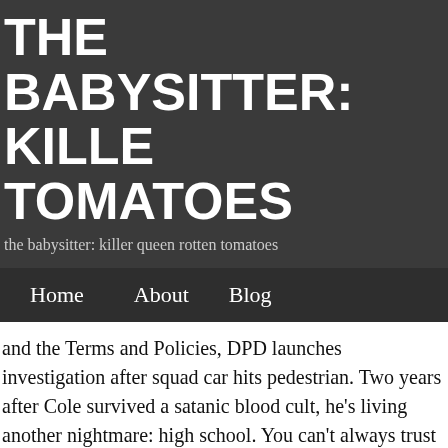THE BABYSITTER: KILLER TOMATOES
the babysitter: killer queen rotten tomatoes
Home   About   Blog
and the Terms and Policies, DPD launches investigation after squad car hits pedestrian. Two years after Cole survived a satanic blood cult, he's living another nightmare: high school. You can't always trust the critics. News. Still making his life hell. Get the freshest reviews, news, and more delivered right to your inbox! Don't have an account? Cela rend un concept déjà idiot (mais frais) plus stupide (et stupide). Playing next. Top 10 Reasons to Ignore The Babysitter: Killer Queen's Rotten Tomatoes Score. Série The Babysitter The Babysitter: Killer Queen (2020) Pour plus de détails, voir Fiche technique et Distribution The Babysitter est une comédie horrifique américaine réalisée par McG, sortie en 2017 sur le service Netflix